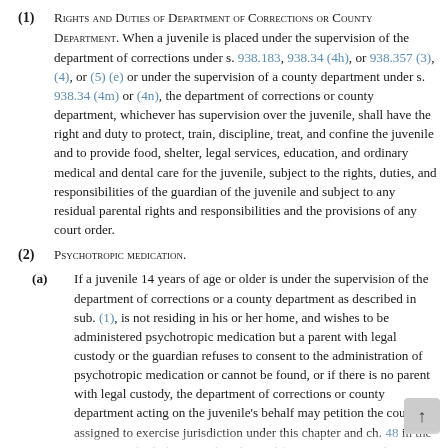(1) Rights and Duties of Department of Corrections or County Department. When a juvenile is placed under the supervision of the department of corrections under s. 938.183, 938.34 (4h), or 938.357 (3), (4), or (5) (e) or under the supervision of a county department under s. 938.34 (4m) or (4n), the department of corrections or county department, whichever has supervision over the juvenile, shall have the right and duty to protect, train, discipline, treat, and confine the juvenile and to provide food, shelter, legal services, education, and ordinary medical and dental care for the juvenile, subject to the rights, duties, and responsibilities of the guardian of the juvenile and subject to any residual parental rights and responsibilities and the provisions of any court order.
(2) Psychotropic Medication.
(a) If a juvenile 14 years of age or older is under the supervision of the department of corrections or a county department as described in sub. (1), is not residing in his or her home, and wishes to be administered psychotropic medication but a parent with legal custody or the guardian refuses to consent to the administration of psychotropic medication or cannot be found, or if there is no parent with legal custody, the department of corrections or county department acting on the juvenile's behalf may petition the court assigned to exercise jurisdiction under this chapter and ch. 48 in the county in which the juvenile is located for permission to administer psychotropic medication to the juvenile. A copy...